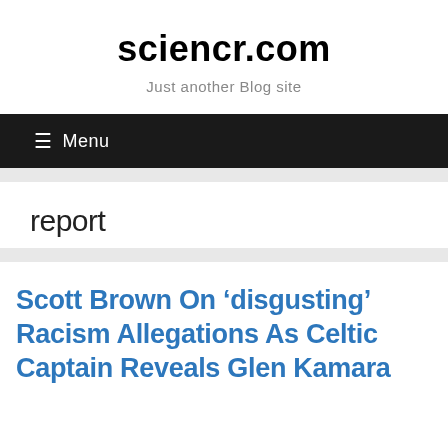sciencr.com
Just another Blog site
≡ Menu
report
Scott Brown On 'disgusting' Racism Allegations As Celtic Captain Reveals Glen Kamara